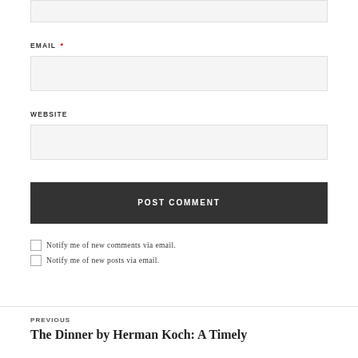EMAIL *
WEBSITE
POST COMMENT
Notify me of new comments via email.
Notify me of new posts via email.
PREVIOUS
The Dinner by Herman Koch: A Timely